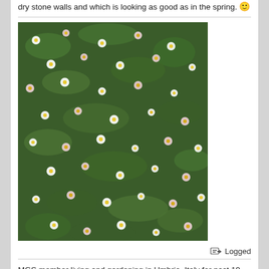dry stone walls and which is looking as good as in the spring. 🙂
[Figure (photo): Photograph of many small white and pink daisy-like flowers (erigeron or similar) growing densely over a green leafy ground cover or wall]
Logged
MGS member living and gardening in Umbria, Italy for past 19 years. Recently moved from my original house and now planning and planting a new small garden.